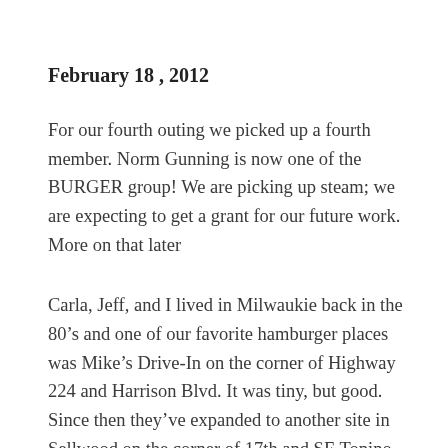February 18 , 2012
For our fourth outing we picked up a fourth member. Norm Gunning is now one of the BURGER group! We are picking up steam; we are expecting to get a grant for our future work. More on that later
Carla, Jeff, and I lived in Milwaukie back in the 80’s and one of our favorite hamburger places was Mike’s Drive-In on the corner of Highway 224 and Harrison Blvd. It was tiny, but good. Since then they’ve expanded to another site in Sellwood on the corner of 17th and SE Tonino in a place that